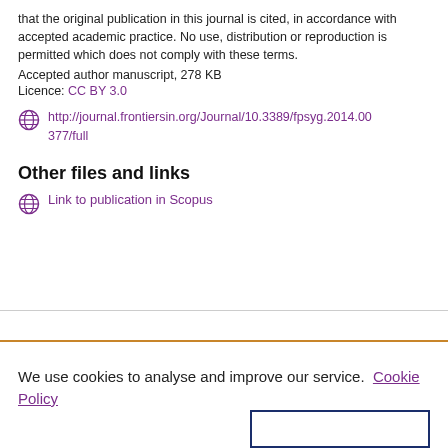that the original publication in this journal is cited, in accordance with accepted academic practice. No use, distribution or reproduction is permitted which does not comply with these terms.
Accepted author manuscript, 278 KB
Licence: CC BY 3.0
http://journal.frontiersin.org/Journal/10.3389/fpsyg.2014.00377/full
Other files and links
Link to publication in Scopus
We use cookies to analyse and improve our service. Cookie Policy